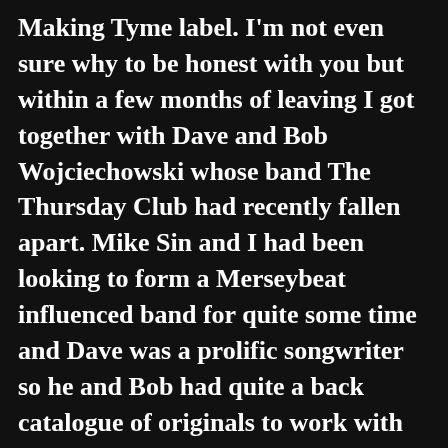Making Tyme label. I'm not even sure why to be honest with you but within a few months of leaving I got together with Dave and Bob Wojciechowski whose band The Thursday Club had recently fallen apart. Mike Sin and I had been looking to form a Merseybeat influenced band for quite some time and Dave was a prolific songwriter so he and Bob had quite a back catalogue of originals to work with and no band so it was almost like a ready-made band! We played NYC once on a week night at Tramps with the Optic Nerve and the rest were just lame gigs at their college in New Brunswick. I stayed with them until almost 1988 and then a year later they became The Insomniacs.